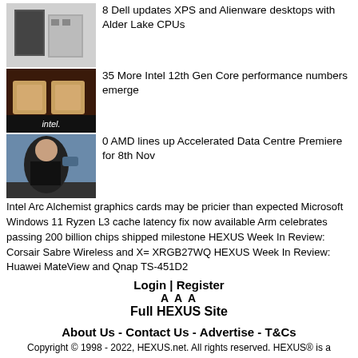[Figure (photo): Two desktop PC tower computers, silver and black]
8 Dell updates XPS and Alienware desktops with Alder Lake CPUs
[Figure (photo): Two Intel processor chips on a dark surface with Intel branding]
35 More Intel 12th Gen Core performance numbers emerge
[Figure (photo): Person holding a chip at a presentation, blue background]
0 AMD lines up Accelerated Data Centre Premiere for 8th Nov
Intel Arc Alchemist graphics cards may be pricier than expected Microsoft Windows 11 Ryzen L3 cache latency fix now available Arm celebrates passing 200 billion chips shipped milestone HEXUS Week In Review: Corsair Sabre Wireless and X= XRGB27WQ HEXUS Week In Review: Huawei MateView and Qnap TS-451D2
Login | Register
A A A
Full HEXUS Site
About Us - Contact Us - Advertise - T&Cs
Copyright © 1998 - 2022, HEXUS.net. All rights reserved. HEXUS® is a